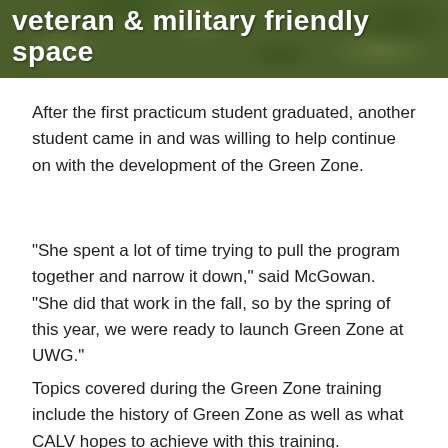[Figure (illustration): Camouflage pattern banner with white bold text reading 'veteran & military friendly space' on a dark olive green background.]
After the first practicum student graduated, another student came in and was willing to help continue on with the development of the Green Zone.
“She spent a lot of time trying to pull the program together and narrow it down,” said McGowan. “She did that work in the fall, so by the spring of this year, we were ready to launch Green Zone at UWG.”
Topics covered during the Green Zone training include the history of Green Zone as well as what CALV hopes to achieve with this training.